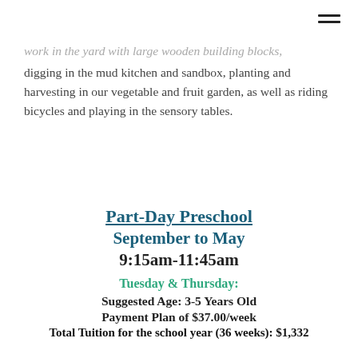work in the yard with large wooden building blocks, digging in the mud kitchen and sandbox, planting and harvesting in our vegetable and fruit garden, as well as riding bicycles and playing in the sensory tables.
Part-Day Preschool
September to May
9:15am-11:45am
Tuesday & Thursday:
Suggested Age: 3-5 Years Old
Payment Plan of $37.00/week
Total Tuition for the school year (36 weeks): $1,332